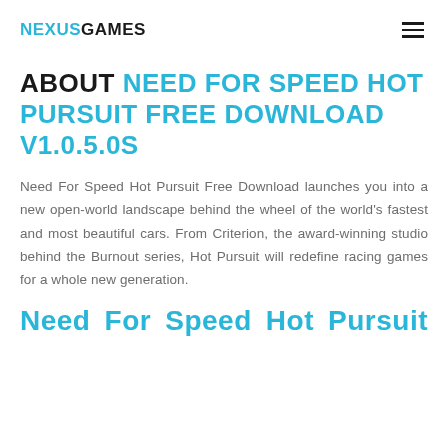NEXUSGAMES
ABOUT NEED FOR SPEED HOT PURSUIT FREE DOWNLOAD V1.0.5.0S
Need For Speed Hot Pursuit Free Download launches you into a new open-world landscape behind the wheel of the world's fastest and most beautiful cars. From Criterion, the award-winning studio behind the Burnout series, Hot Pursuit will redefine racing games for a whole new generation.
Need For Speed Hot Pursuit